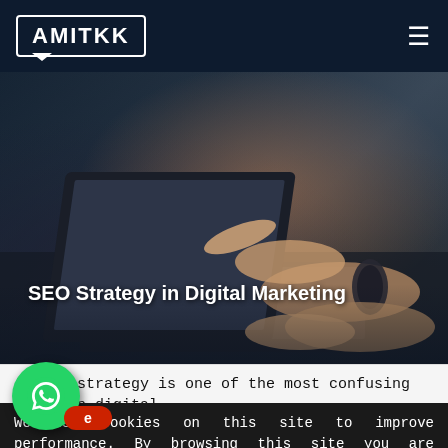AMITKK
[Figure (photo): Person pointing at a laptop screen with one hand, wearing a black fitness tracker bracelet, while the other hand rests on the keyboard. Dark blueish-grey background. The text 'SEO Strategy in Digital Marketing' overlays the image.]
SEO Strategy in Digital Marketing
An SEO strategy is one of the most confusing terms in digital
We use cookies on this site to improve performance. By browsing this site you are agreeing to this. For more information see our Privacy P